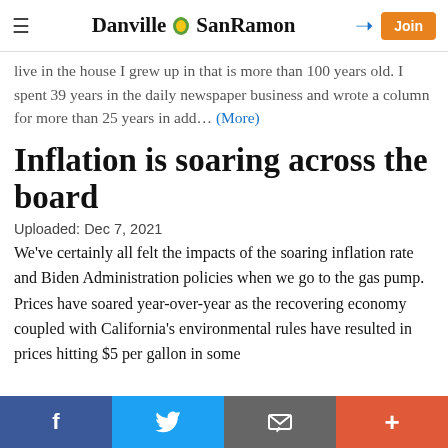Danville SanRamon — navigation header with hamburger menu, logo, login icon, and Join button
live in the house I grew up in that is more than 100 years old. I spent 39 years in the daily newspaper business and wrote a column for more than 25 years in add… (More)
Inflation is soaring across the board
Uploaded: Dec 7, 2021
We've certainly all felt the impacts of the soaring inflation rate and Biden Administration policies when we go to the gas pump.
Prices have soared year-over-year as the recovering economy coupled with California's environmental rules have resulted in prices hitting $5 per gallon in some
Facebook | Twitter | Email | Plus — social sharing bar